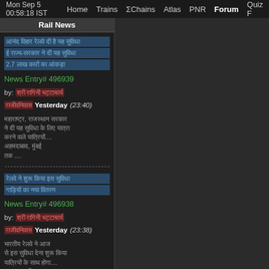Mon Sep 5 00:58:18 IST  Home  Trains  ΣChains  Atlas  PNR  Forum  Quiz F
Rail News
[Hindi text news headline link 1]
[Hindi text news headline link 2]
2.7 [Hindi text]
News Entry# 496939
by: [author link] [short link]  Yesterday (23:40)
[Hindi body text paragraph 1]...
[Hindi body text paragraph 2]...
[Hindi text news headline link 3]
[Hindi text news headline link 4]
News Entry# 496938
by: [author link] [short link]  Yesterday (23:38)
[Hindi body text paragraph 3]...
[Hindi body text paragraph 4]...
[Hindi]